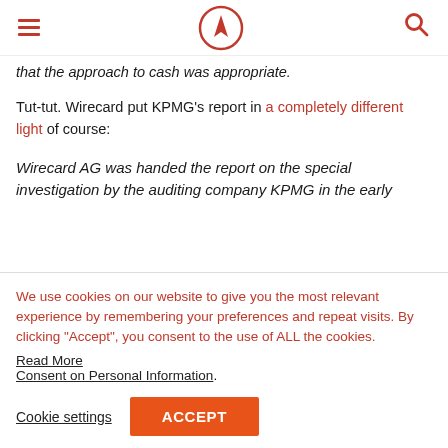[Hamburger menu] [Rocket logo] [Search icon]
that the approach to cash was appropriate.
Tut-tut. Wirecard put KPMG's report in a completely different light of course:
Wirecard AG was handed the report on the special investigation by the auditing company KPMG in the early
We use cookies on our website to give you the most relevant experience by remembering your preferences and repeat visits. By clicking "Accept", you consent to the use of ALL the cookies.
Read More
Consent on Personal Information.
Cookie settings  ACCEPT